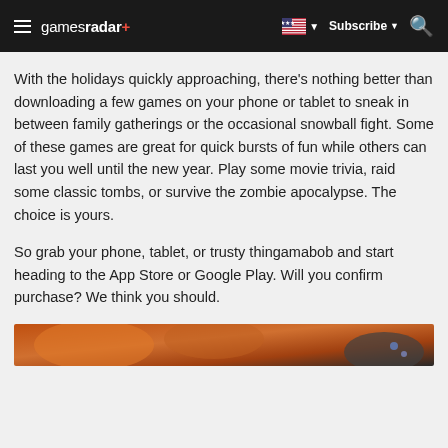gamesradar+ | Subscribe | Search
With the holidays quickly approaching, there's nothing better than downloading a few games on your phone or tablet to sneak in between family gatherings or the occasional snowball fight. Some of these games are great for quick bursts of fun while others can last you well until the new year. Play some movie trivia, raid some classic tombs, or survive the zombie apocalypse. The choice is yours.
So grab your phone, tablet, or trusty thingamabob and start heading to the App Store or Google Play. Will you confirm purchase? We think you should.
[Figure (photo): Partial view of a game screenshot with warm orange and brown tones]